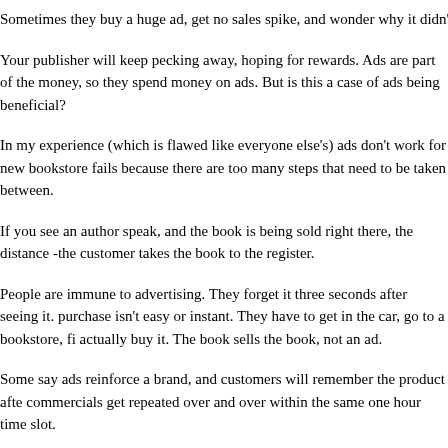Sometimes they buy a huge ad, get no sales spike, and wonder why it didn't wo
Your publisher will keep pecking away, hoping for rewards. Ads are part of the money, so they spend money on ads. But is this a case of ads being beneficial?
In my experience (which is flawed like everyone else's) ads don't work for new bookstore fails because there are too many steps that need to be taken between.
If you see an author speak, and the book is being sold right there, the distance -the customer takes the book to the register.
People are immune to advertising. They forget it three seconds after seeing it. purchase isn't easy or instant. They have to get in the car, go to a bookstore, fi actually buy it. The book sells the book, not an ad.
Some say ads reinforce a brand, and customers will remember the product afte commercials get repeated over and over within the same one hour time slot.
I believe that content sells. Not advertising.
If you want to reach a specific crowd, visit the specific crowd. If you want to s with your work, not with your ads.